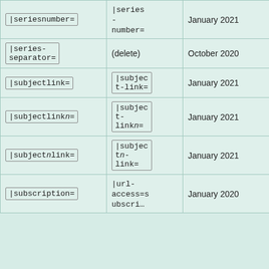| Old parameter | New parameter | Date changed |
| --- | --- | --- |
| |seriesnumber= | |series-number= | January 2021 |
| |series-separator= | (delete) | October 2020 |
| |subjectlink= | |subject-link= | January 2021 |
| |subjectlinkn= | |subject-linkn= | January 2021 |
| |subjectnlink= | |subjectn-link= | January 2021 |
| |subscription= | |url-access=subscription | January 2020 |